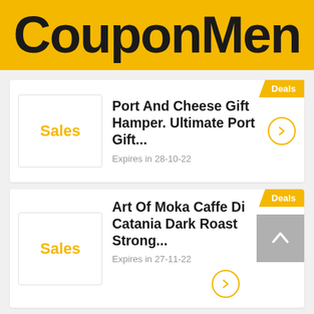CouponMen
Deals
Sales
Port And Cheese Gift Hamper. Ultimate Port Gift...
Expires in 28-10-22
Deals
Sales
Art Of Moka Caffe Di Catania Dark Roast Strong...
Expires in 27-11-22